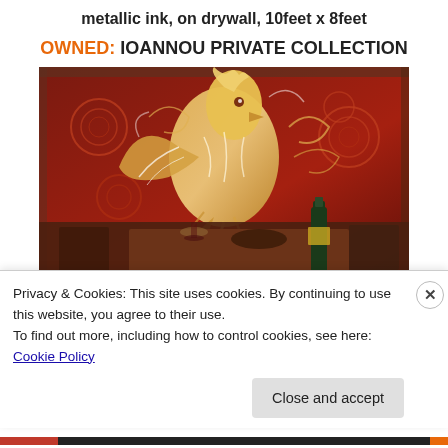metallic ink, on drywall, 10feet x 8feet
OWNED: IOANNOU PRIVATE COLLECTION
[Figure (photo): Photograph of a large mural painted in metallic ink on drywall, depicting an elaborate bird (phoenix-like) surrounded by decorative swirling patterns in red and gold tones. In the foreground is a wooden table with wine glasses, a wine bottle, and a bowl.]
Privacy & Cookies: This site uses cookies. By continuing to use this website, you agree to their use.
To find out more, including how to control cookies, see here: Cookie Policy